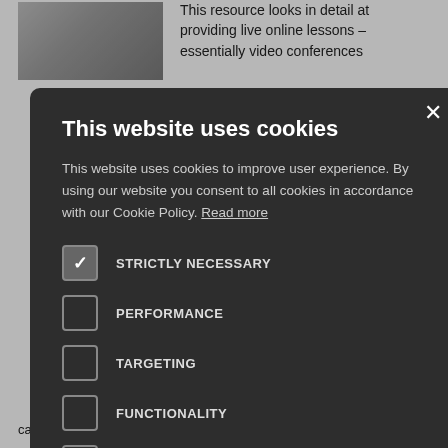This resource looks in detail at providing live online lessons – essentially video conferences
udents, with sical content, of...
eachers
IT
has turned ofessionally rief and by e overview of online resources that can enhance our
This website uses cookies
This website uses cookies to improve user experience. By using our website you consent to all cookies in accordance with our Cookie Policy. Read more
STRICTLY NECESSARY
PERFORMANCE
TARGETING
FUNCTIONALITY
UNCLASSIFIED
ACCEPT ALL
DECLINE ALL
SHOW DETAILS